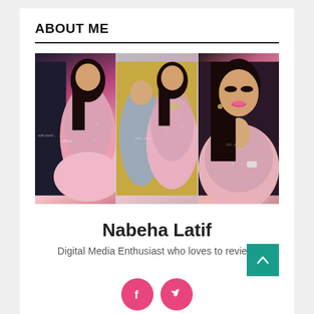ABOUT ME
[Figure (photo): Three-panel photo collage of Nabeha Latif wearing a pink beaded/embroidered gown at a formal event, shown from different angles]
Nabeha Latif
Digital Media Enthusiast who loves to review.
[Figure (infographic): Teal/green scroll-to-top arrow button (chevron up) in bottom right corner, and two pink circular social media icons (Facebook, Twitter) at the bottom center]